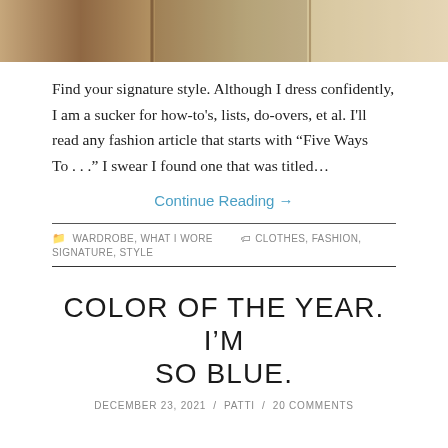[Figure (photo): Cropped photo showing hanging textile/clothing items in neutral beige and brown tones at the top of the page]
Find your signature style. Although I dress confidently, I am a sucker for how-to's, lists, do-overs, et al. I'll read any fashion article that starts with “Five Ways To . . .” I swear I found one that was titled…
Continue Reading →
WARDROBE, WHAT I WORE   CLOTHES, FASHION, SIGNATURE, STYLE
COLOR OF THE YEAR. I’M SO BLUE.
DECEMBER 23, 2021 / PATTI / 20 COMMENTS